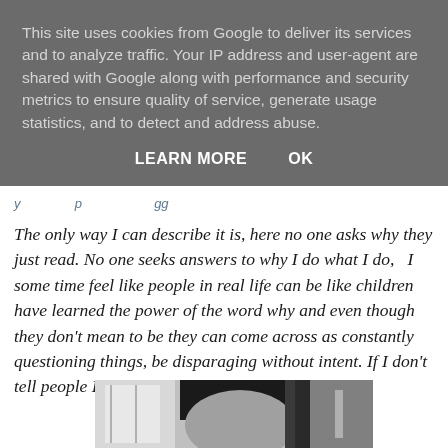This site uses cookies from Google to deliver its services and to analyze traffic. Your IP address and user-agent are shared with Google along with performance and security metrics to ensure quality of service, generate usage statistics, and to detect and address abuse.
LEARN MORE   OK
The only way I can describe it is, here no one asks why they just read. No one seeks answers to why I do what I do,  I some time feel like people in real life can be like children have learned the power of the word why and even though they don't mean to be they can come across as constantly questioning things, be disparaging without intent. If I don't tell people I don't have to answer the why question.
[Figure (photo): Black and white photo of a person with dark hair, seen from a close angle, partially cropped]